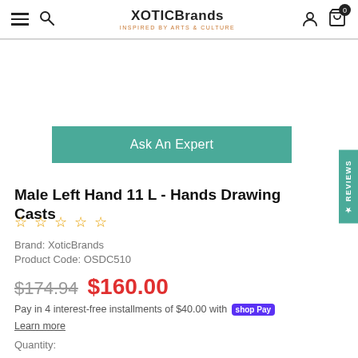XoticBrands - Inspired by Arts & Culture
[Figure (other): Ask An Expert teal button]
Male Left Hand 11 L - Hands Drawing Casts
☆☆☆☆☆ (0 stars)
Brand: XoticBrands
Product Code: OSDC510
$174.94  $160.00
Pay in 4 interest-free installments of $40.00 with shop Pay
Learn more
Quantity: